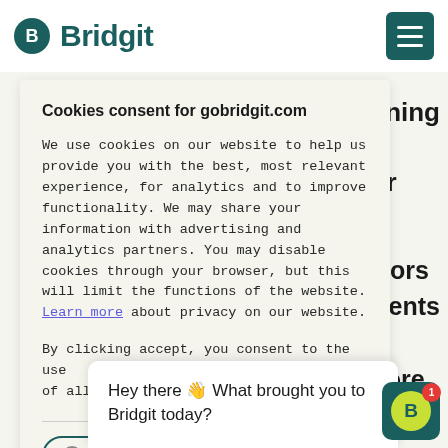[Figure (logo): Bridgit logo with dark teal circle icon and 'Bridgit' text in dark teal, plus hamburger menu button top right]
rce planning
d to the
30 Under
Innovators
istry events
orlds,
n, Procore
Cookies consent for gobridgit.com
We use cookies on our website to help us provide you with the best, most relevant experience, for analytics and to improve functionality. We may share your information with advertising and analytics partners. You may disable cookies through your browser, but this will limit the functions of the website. Learn more about privacy on our website.
By clicking accept, you consent to the use of all cookies.
Cookie Settings
Hey there 👋 What brought you to Bridgit today?